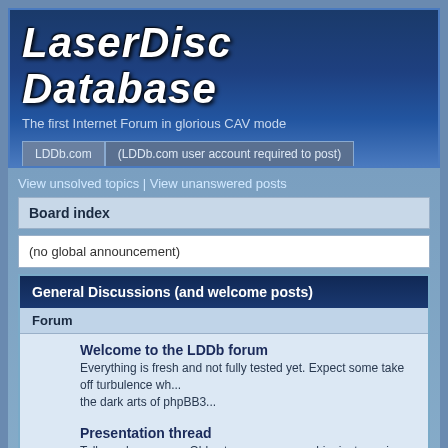LaserDisc Database
The first Internet Forum in glorious CAV mode
LDDb.com | (LDDb.com user account required to post)
View unsolved topics | View unanswered posts
Board index
(no global announcement)
General Discussions (and welcome posts)
Forum
Welcome to the LDDb forum
Everything is fresh and not fully tested yet. Expect some take off turbulence wh... the dark arts of phpBB3...
Presentation thread
Tell us who you are. Old veteran, young newbie, just passing by, or here to sta...
Everything not even remotely related to LDs...
A kind of catch-all category. We might spawn a new sub-forum if we find somet... about.